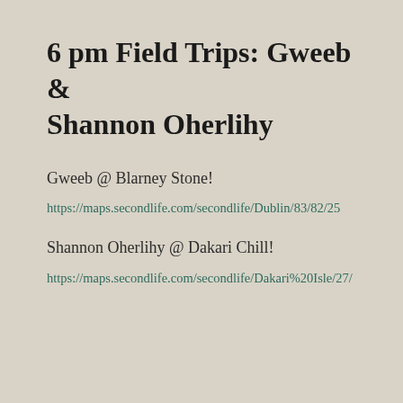6 pm Field Trips: Gweeb & Shannon Oherlihy
Gweeb @ Blarney Stone!
https://maps.secondlife.com/secondlife/Dublin/83/82/25
Shannon Oherlihy @ Dakari Chill!
https://maps.secondlife.com/secondlife/Dakari%20Isle/27/